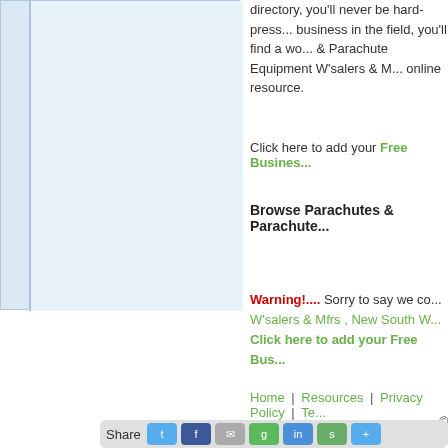[Figure (other): Left panel with light blue background sidebar and inner panel]
directory, you'll never be hard-press... business in the field, you'll find a wo... & Parachute Equipment W'salers & M... online resource.
Click here to add your Free Busines...
Browse Parachutes & Parachute...
Warning!.... Sorry to say we co... W'salers & Mfrs , New South W... Click here to add your Free Bus...
Home | Resources | Privacy Policy | Te...
©
[Figure (other): Share bar with social media icons including Twitter, Facebook, and others]